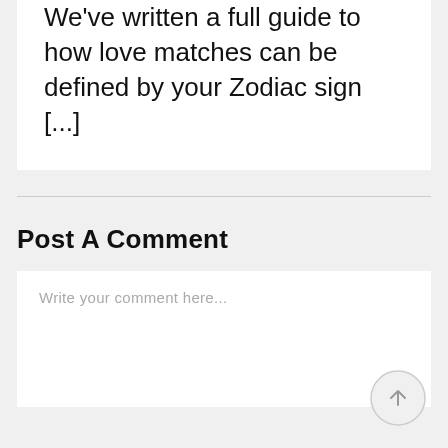We've written a full guide to how love matches can be defined by your Zodiac sign [...]
Post A Comment
Write your comment here...